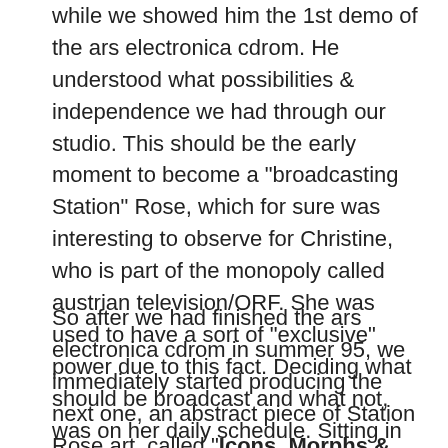while we showed him the 1st demo of the ars electronica cdrom. He understood what possibilities & independence we had through our studio. This should be the early moment to become a "broadcasting Station" Rose, which for sure was interesting to observe for Christine, who is part of the monopoly called austrian television/ORF. She was used to have a sort of "exclusive" power due to this fact. Deciding what should be broadcast and what not, was on her daily schedule. Sitting in our humble studio in Frankfurt, and, getting in contact with the idea of a homestudio, a station like ours must have been quite an experience for her, as we could see in her puzzled face.
So after we had finished the ars electronica cdrom in summer 95, we immediately started producing the next one, an abstract piece of Station Rose art, called "Icons, Morphs & Samples". It was an audio cd